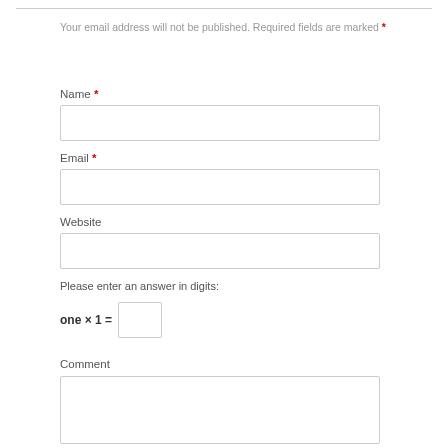Your email address will not be published. Required fields are marked *
Name *
Email *
Website
Please enter an answer in digits:
Comment